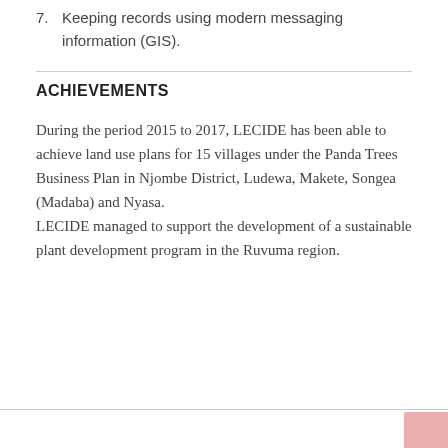7. Keeping records using modern messaging information (GIS).
ACHIEVEMENTS
During the period 2015 to 2017, LECIDE has been able to achieve land use plans for 15 villages under the Panda Trees Business Plan in Njombe District, Ludewa, Makete, Songea (Madaba) and Nyasa.
LECIDE managed to support the development of a sustainable plant development program in the Ruvuma region.